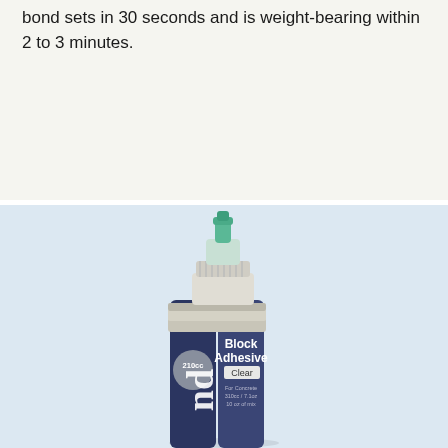...bond sets in 30 seconds and is weight-bearing within 2 to 3 minutes.
[Figure (photo): Product photo of a two-part adhesive cartridge labeled 'Block Adhesive Clear, 210cc' with a green mixing nozzle tip, shown against a light blue background. The cartridge has a navy/dark blue label with white text and branding.]